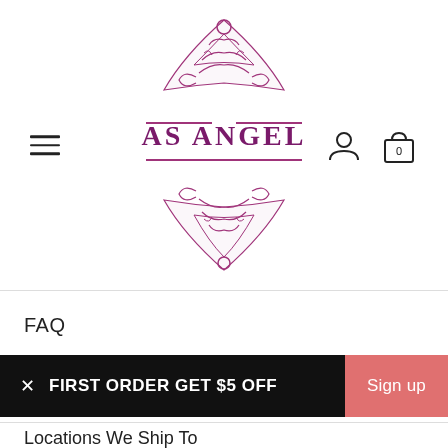[Figure (logo): AS ANGEL ornate purple logo with decorative scrollwork above and below the brand name]
FAQ
× FIRST ORDER GET $5 OFF   Sign up
Locations We Ship To